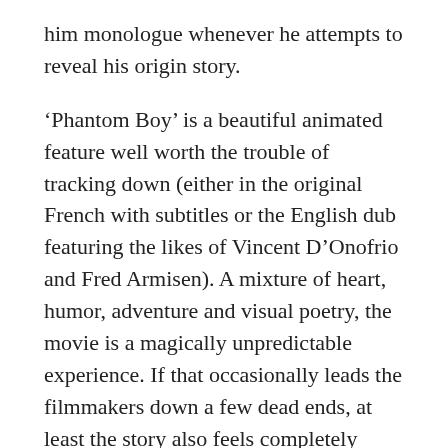him monologue whenever he attempts to reveal his origin story.
'Phantom Boy' is a beautiful animated feature well worth the trouble of tracking down (either in the original French with subtitles or the English dub featuring the likes of Vincent D'Onofrio and Fred Armisen). A mixture of heart, humor, adventure and visual poetry, the movie is a magically unpredictable experience. If that occasionally leads the filmmakers down a few dead ends, at least the story also feels completely devoid of the Robert McKee narrative/emotional calculation that plagues even Pixar these days. The film has a sense of imagination and freedom that should be infectious to audiences of all ages. The only real downside is knowing that it'll be years before Felicioli and Gagnol will deliver